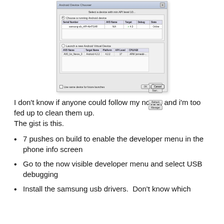[Figure (screenshot): Android Device Chooser dialog showing a connected Samsung device and an AVD list. The dialog has a 'Choose a running Android device' radio selected, showing samsung-s/b_i4PI-4b4TG4R as Online, and a 'Launch a new Android Virtual Device' section with AVD_for_Nexus_3 running Android 4.2.2 at API level 17 on ARM. Buttons include New, Start, Refresh, Manager, OK, and Cancel.]
I don't know if anyone could follow my notes, and i'm too fed up to clean them up.
The gist is this.
7 pushes on build to enable the developer menu in the phone info screen
Go to the now visible developer menu and select USB debugging
Install the samsung usb drivers.  Don't know which